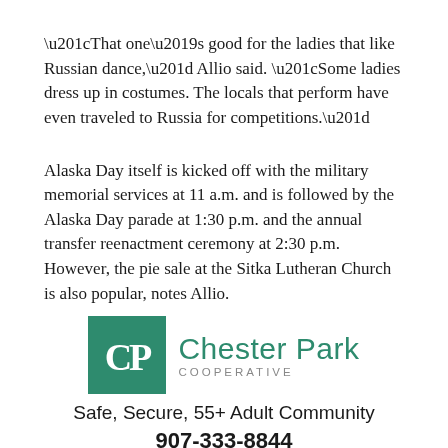“That one’s good for the ladies that like Russian dance,” Allio said. “Some ladies dress up in costumes. The locals that perform have even traveled to Russia for competitions.”
Alaska Day itself is kicked off with the military memorial services at 11 a.m. and is followed by the Alaska Day parade at 1:30 p.m. and the annual transfer reenactment ceremony at 2:30 p.m. However, the pie sale at the Sitka Lutheran Church is also popular, notes Allio.
[Figure (logo): Chester Park Cooperative logo with green square containing stylized CP letters, followed by brand name and tagline 'Safe, Secure, 55+ Adult Community' and phone number 907-333-8844]
[Figure (photo): Partial photo of a building exterior at the bottom of the page]